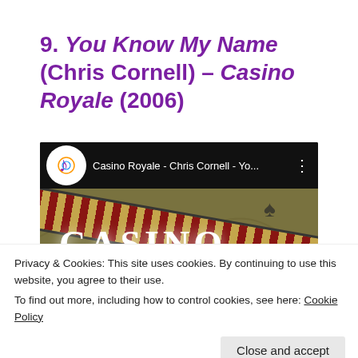9. You Know My Name (Chris Cornell) – Casino Royale (2006)
[Figure (screenshot): YouTube video thumbnail showing Casino Royale - Chris Cornell - You Know My Name video with decorative card suit strap overlay and CASINO text]
Privacy & Cookies: This site uses cookies. By continuing to use this website, you agree to their use.
To find out more, including how to control cookies, see here: Cookie Policy